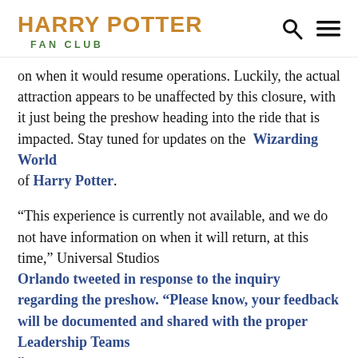HARRY POTTER FAN CLUB
on when it would resume operations. Luckily, the actual attraction appears to be unaffected by this closure, with it just being the preshow heading into the ride that is impacted. Stay tuned for updates on the Wizarding World of Harry Potter.
“This experience is currently not available, and we do not have information on when it will return, at this time,” Universal Studios Orlando tweeted in response to the inquiry regarding the preshow. “Please know, your feedback will be documented and shared with the proper Leadership Teams”.